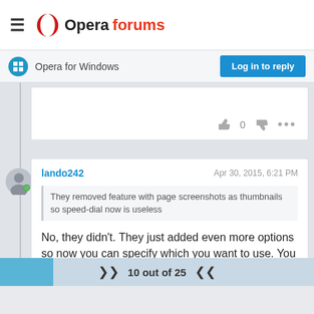Opera forums
Opera for Windows
Log in to reply
[Figure (screenshot): Post vote controls showing thumbs up, count 0, thumbs down, and ellipsis menu]
[Figure (illustration): User avatar: gray silhouette with blue online indicator dot]
lando242
Apr 30, 2015, 6:21 PM
They removed feature with page screenshots as thumbnails so speed-dial now is useless
No, they didn't. They just added even more options so now you can specify which you want to use. You can even change them after you
10 out of 25